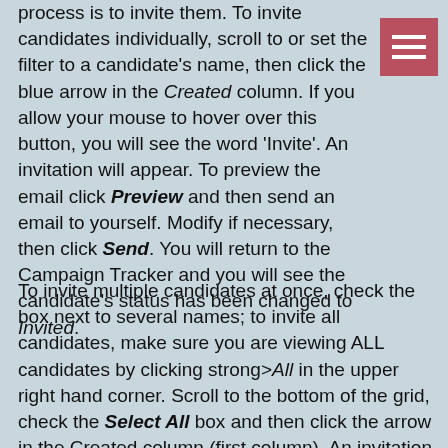process is to invite them. To invite candidates individually, scroll to or set the filter to a candidate's name, then click the blue arrow in the Created column. If you allow your mouse to hover over this button, you will see the word 'Invite'. An invitation will appear. To preview the email click Preview and then send an email to yourself. Modify if necessary, then click Send. You will return to the Campaign Tracker and you will see the candidate's status has been changed to Invited.
To invite multiple candidates at once, check the box next to several names; to invite all candidates, make sure you are viewing ALL candidates by clicking strong>All in the upper right hand corner. Scroll to the bottom of the grid, check the Select All box and then click the arrow in the Created column (first column). An invitation will appear, with all invited candidates shown. To preview the